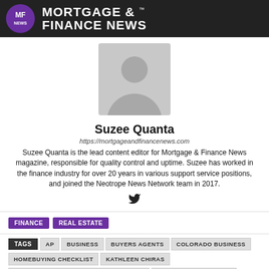MORTGAGE & FINANCE NEWS
[Figure (illustration): Generic person silhouette placeholder avatar in gray]
Suzee Quanta
https://mortgageandfinancenews.com
Suzee Quanta is the lead content editor for Mortgage & Finance News magazine, responsible for quality control and uptime. Suzee has worked in the finance industry for over 20 years in various support service positions, and joined the Neotrope News Network team in 2017.
[Figure (illustration): Twitter bird icon]
FINANCE
REAL ESTATE
TAGS  AP  BUSINESS  BUYERS AGENTS  COLORADO BUSINESS
HOMEBUYING CHECKLIST  KATHLEEN CHIRAS
NATIONAL BUYERS AGENTS ASSOCIATION  VIDEO NEWS RELEASES